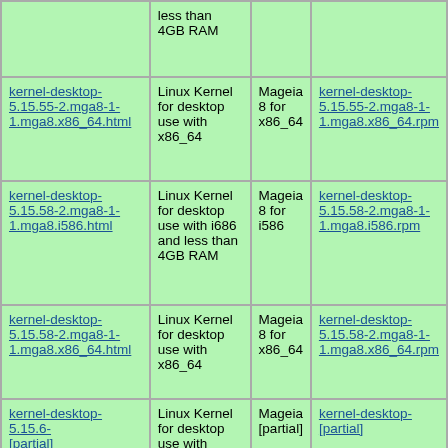| Package | Description | Repository | RPM |
| --- | --- | --- | --- |
| [partial top row] | less than 4GB RAM |  |  |
| kernel-desktop-5.15.55-2.mga8-1-1.mga8.x86_64.html | Linux Kernel for desktop use with x86_64 | Mageia 8 for x86_64 | kernel-desktop-5.15.55-2.mga8-1-1.mga8.x86_64.rpm |
| kernel-desktop-5.15.58-2.mga8-1-1.mga8.i586.html | Linux Kernel for desktop use with i686 and less than 4GB RAM | Mageia 8 for i586 | kernel-desktop-5.15.58-2.mga8-1-1.mga8.i586.rpm |
| kernel-desktop-5.15.58-2.mga8-1-1.mga8.x86_64.html | Linux Kernel for desktop use with x86_64 | Mageia 8 for x86_64 | kernel-desktop-5.15.58-2.mga8-1-1.mga8.x86_64.rpm |
| kernel-desktop-5.15.6-[partial] | Linux Kernel for desktop use with [partial] | Mageia [partial] | kernel-desktop-[partial] |